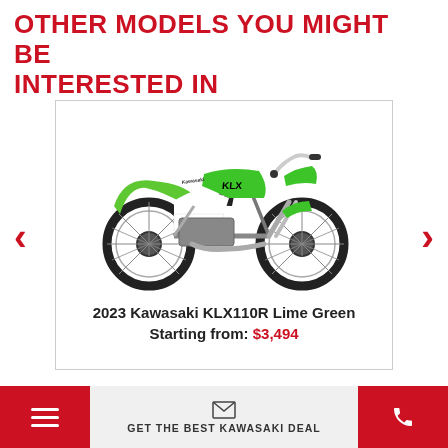OTHER MODELS YOU MIGHT BE INTERESTED IN
[Figure (photo): 2023 Kawasaki KLX110R dirt bike in Lime Green and white color, side view showing the full motorcycle with knobby tires, silver spoked wheels, green frame and bodywork with KLX branding]
2023 Kawasaki KLX110R Lime Green
Starting from: $3,494
GET THE BEST KAWASAKI DEAL